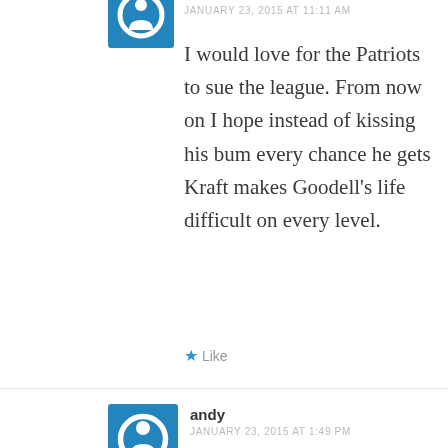JANUARY 23, 2015 AT 11:11 AM
I would love for the Patriots to sue the league. From now on I hope instead of kissing his bum every chance he gets Kraft makes Goodell's life difficult on every level.
Like
andy
JANUARY 23, 2015 AT 1:49 PM
Look, I think this is all a bunch of nonsense and the media rush to judgment shows how unhinged